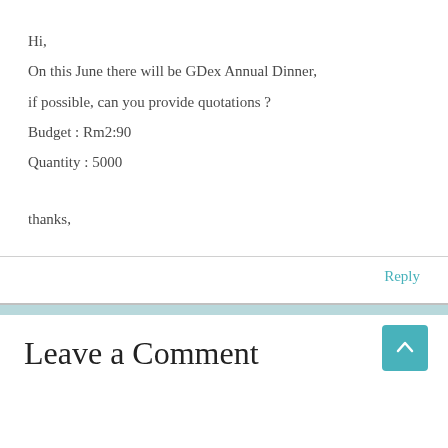Hi,
On this June there will be GDex Annual Dinner,
if possible, can you provide quotations ?
Budget : Rm2:90
Quantity : 5000

thanks,
Reply
Leave a Comment